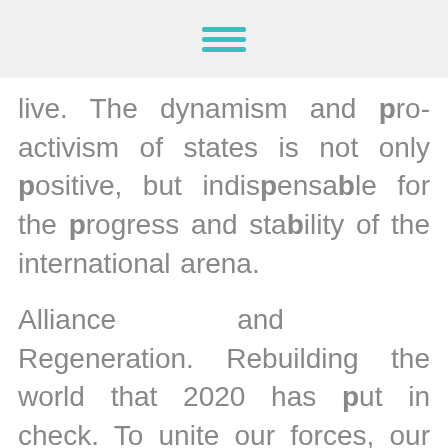[hamburger menu icon]
live. The dynamism and pro-activism of states is not only positive, but indispensable for the progress and stability of the international arena.
Alliance and Regeneration. Rebuilding the world that 2020 has put in check. To unite our forces, our efforts and our illusions in order to strengthen and renew our institutions, our values and our